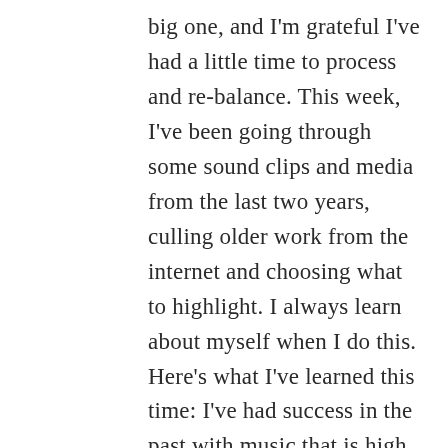big one, and I'm grateful I've had a little time to process and re-balance. This week, I've been going through some sound clips and media from the last two years, culling older work from the internet and choosing what to highlight. I always learn about myself when I do this. Here's what I've learned this time: I've had success in the past with music that is high, brilliant, audibly difficult. This year, the recordings I like most are more lyrical, less jazz-hands. My best performances are